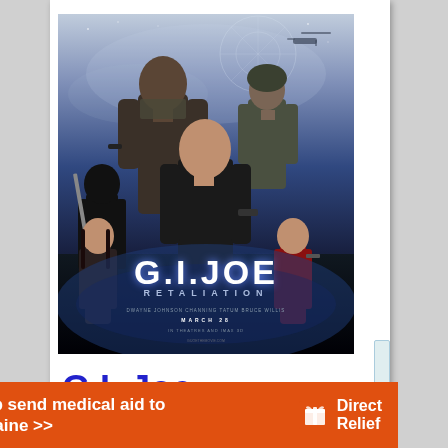[Figure (photo): G.I. Joe: Retaliation movie poster showing action characters including The Rock, Channing Tatum, Bruce Willis and others with the movie title 'G.I. JOE RETALIATION' and 'MARCH 28' release date on a dark background.]
G.I. Joe: Retaliation
Help send medical aid to Ukraine >>